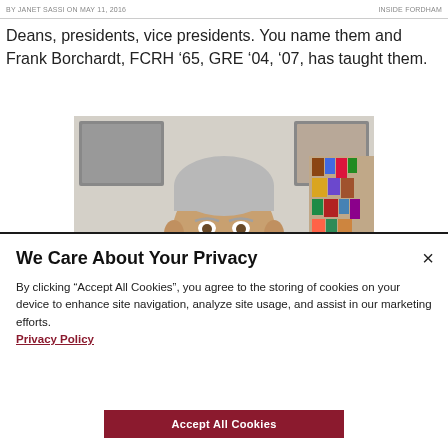BY JANET SASSI ON MAY 11, 2016    INSIDE FORDHAM
Deans, presidents, vice presidents. You name them and Frank Borchardt, FCRH ’65, GRE ’04, ’07, has taught them.
[Figure (photo): Portrait photo of Frank Borchardt, an older man with gray hair and a mustache, wearing a dark suit and tie, seated in an office with books and items visible in the background.]
We Care About Your Privacy
By clicking “Accept All Cookies”, you agree to the storing of cookies on your device to enhance site navigation, analyze site usage, and assist in our marketing efforts.
Privacy Policy